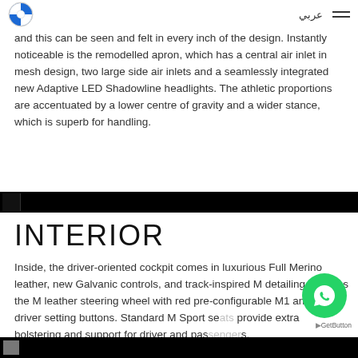BMW logo, Arabic text, hamburger menu
and this can be seen and felt in every inch of the design. Instantly noticeable is the remodelled apron, which has a central air inlet in mesh design, two large side air inlets and a seamlessly integrated new Adaptive LED Shadowline headlights. The athletic proportions are accentuated by a lower centre of gravity and a wider stance, which is superb for handling.
[Figure (other): Black full-width divider bar]
INTERIOR
Inside, the driver-oriented cockpit comes in luxurious Full Merino leather, new Galvanic controls, and track-inspired M detailing, such as the M leather steering wheel with red pre-configurable M1 and M2 driver setting buttons. Standard M Sport seats provide extra bolstering and support for driver and passengers.
[Figure (other): WhatsApp floating button (green circle with phone icon) and GetButton label]
[Figure (other): Black full-width bottom bar]